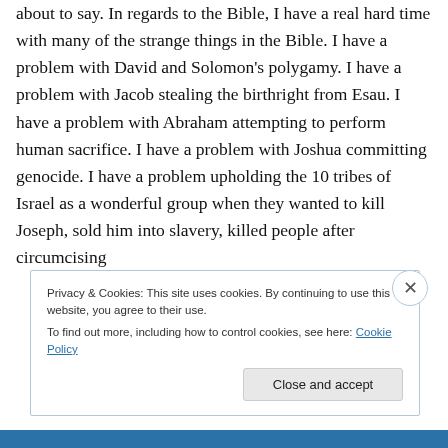about to say. In regards to the Bible, I have a real hard time with many of the strange things in the Bible. I have a problem with David and Solomon's polygamy. I have a problem with Jacob stealing the birthright from Esau. I have a problem with Abraham attempting to perform human sacrifice. I have a problem with Joshua committing genocide. I have a problem upholding the 10 tribes of Israel as a wonderful group when they wanted to kill Joseph, sold him into slavery, killed people after circumcising
Privacy & Cookies: This site uses cookies. By continuing to use this website, you agree to their use.
To find out more, including how to control cookies, see here: Cookie Policy
Close and accept